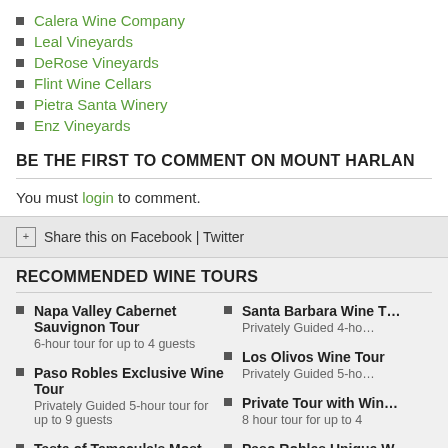Calera Wine Company
Leal Vineyards
DeRose Vineyards
Flint Wine Cellars
Pietra Santa Winery
Enz Vineyards
BE THE FIRST TO COMMENT ON MOUNT HARLAN
You must login to comment.
Share this on Facebook | Twitter
RECOMMENDED WINE TOURS
Napa Valley Cabernet Sauvignon Tour
6-hour tour for up to 4 guests
Paso Robles Exclusive Wine Tour
Privately Guided 5-hour tour for up to 9 guests
Taste of Temecula's Most Popular Wineries
Privately Guided 5-hour tour for up to 9 guests
Private Tasting and Tour - Napa Valley and Sonoma
Santa Barbara Wine To...
Privately Guided 4-ho...
Los Olivos Wine Tour
Privately Guided 5-ho...
Private Tour with Win...
8 hour tour for up to 4
Paso Robles Unique W...